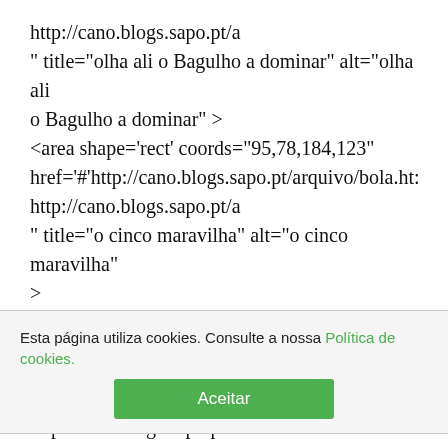onclick='window.open('http://cano.blogs.sapo.pt/a' " title="olha ali o Bagulho a dominar" alt="olha ali o Bagulho a dominar" >
<area shape='rect' coords="95,78,184,123" href='#'http://cano.blogs.sapo.pt/arquivo/bola.ht: onclick='window.open('http://cano.blogs.sapo.pt/a' " title="o cinco maravilha" alt="o cinco maravilha" >

<area shape='rect' coords="269,81,358,126" href='#'http://cano.blogs.sapo.pt/arquivo/bola2.h onclick='window.open('http://cano.blogs.sapo.pt/a'
Esta página utiliza cookies. Consulte a nossa Política de cookies.
onclick='window.open('http://cano.blogs.sapo.pt/: